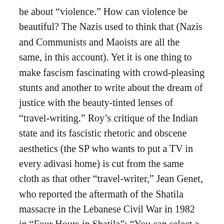be about “violence.” How can violence be beautiful? The Nazis used to think that (Nazis and Communists and Maoists are all the same, in this account). Yet it is one thing to make fascism fascinating with crowd-pleasing stunts and another to write about the dream of justice with the beauty-tinted lenses of “travel-writing.” Roy’s critique of the Indian state and its fascistic rhetoric and obscene aesthetics (the SP who wants to put a TV in every adivasi home) is cut from the same cloth as that other “travel-writer,” Jean Genet, who reported the aftermath of the Shatila massacre in the Lebanese Civil War in 1982 in “Four Hours in Shatila”: “You can select a particular community other than that of your birth, whereas you are born into a people; this selection is based on an irrational affinity, which is not to say that justice has no role, but this justice and the entire defense of this community take place because of an emotional — perhaps intuitive, sensual — attraction; I am French, but I defend the Palestinians wholeheartedly and…”